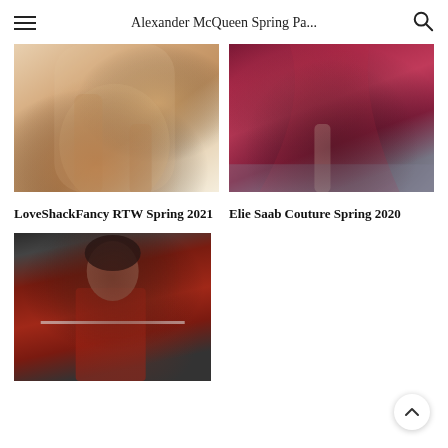Alexander McQueen Spring Pa...
[Figure (photo): LoveShackFancy RTW Spring 2021 — closeup of model's legs in fur/knit coat with heeled boots at a fashion runway show]
[Figure (photo): Elie Saab Couture Spring 2020 — model in a dramatic deep pink/magenta satin gown with high slit and long train on a runway]
LoveShackFancy RTW Spring 2021
Elie Saab Couture Spring 2020
[Figure (photo): A third fashion show photo — model with dark curly hair in a red satin long-sleeve top on a runway]